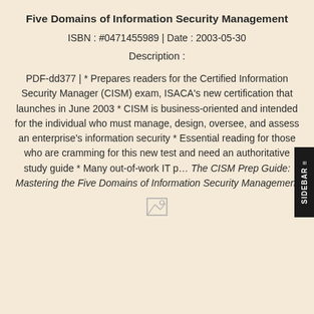Five Domains of Information Security Management
ISBN : #0471455989 | Date : 2003-05-30
Description :
PDF-dd377 | * Prepares readers for the Certified Information Security Manager (CISM) exam, ISACA's new certification that launches in June 2003 * CISM is business-oriented and intended for the individual who must manage, design, oversee, and assess an enterprise's information security * Essential reading for those who are cramming for this new test and need an authoritative study guide * Many out-of-work IT p… The CISM Prep Guide: Mastering the Five Domains of Information Security Management
[Figure (other): Small broken image icon placeholder]